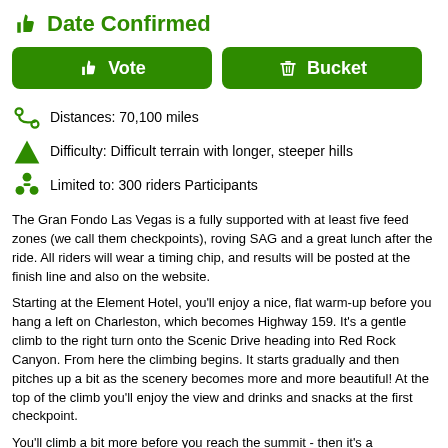Date Confirmed
[Figure (other): Vote button and Bucket button (green rounded rectangles with icons)]
Distances: 70,100 miles
Difficulty: Difficult terrain with longer, steeper hills
Limited to: 300 riders Participants
The Gran Fondo Las Vegas is a fully supported with at least five feed zones (we call them checkpoints), roving SAG and a great lunch after the ride. All riders will wear a timing chip, and results will be posted at the finish line and also on the website.
Starting at the Element Hotel, you'll enjoy a nice, flat warm-up before you hang a left on Charleston, which becomes Highway 159. It's a gentle climb to the right turn onto the Scenic Drive heading into Red Rock Canyon. From here the climbing begins. It starts gradually and then pitches up a bit as the scenery becomes more and more beautiful! At the top of the climb you'll enjoy the view and drinks and snacks at the first checkpoint.
You'll climb a bit more before you reach the summit - then it's a wonderful, rewarding descent down to Highway 159 where you'll make a right. The road rolls gently along Highway 159 all the way to the right turn to Blue Diamond, where you'll find the second